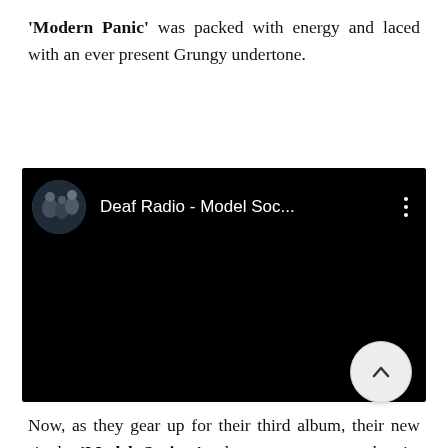'Modern Panic' was packed with energy and laced with an ever present Grungy undertone.
[Figure (screenshot): Embedded YouTube-style video player showing Deaf Radio - Model Soc... with band photo avatar thumbnail, black background, and three-dot menu icon]
Now, as they gear up for their third album, their new single 'Model Society' takes on a more anthemic, Bleached sound with vocals akin to Brandon